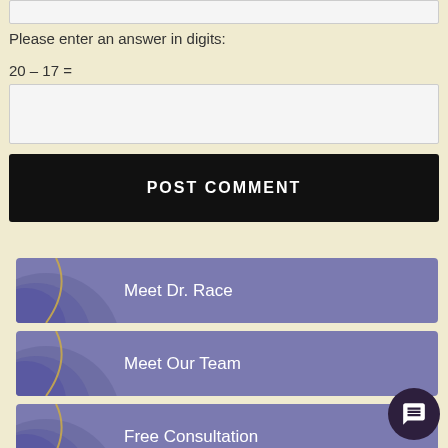Please enter an answer in digits:
Meet Dr. Race
Meet Our Team
Free Consultation
Why Choose Us